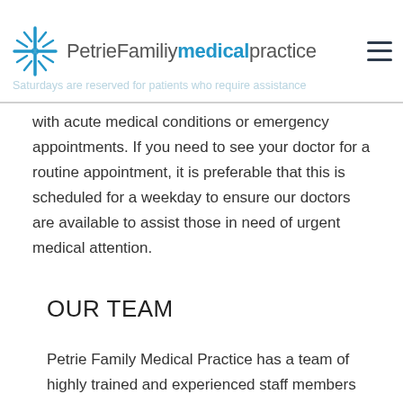PetrieFamilymedicalpractice
with acute medical conditions or emergency appointments. If you need to see your doctor for a routine appointment, it is preferable that this is scheduled for a weekday to ensure our doctors are available to assist those in need of urgent medical attention.
OUR TEAM
Petrie Family Medical Practice has a team of highly trained and experienced staff members who are